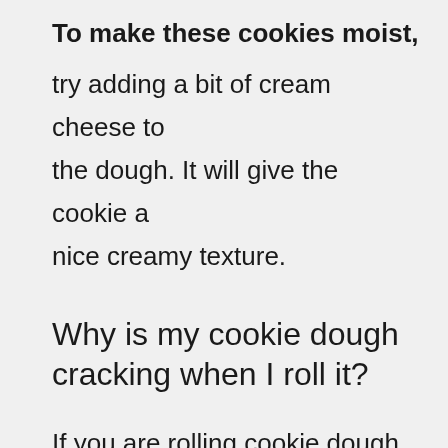To make these cookies moist,
try adding a bit of cream cheese to the dough. It will give the cookie a nice creamy texture.
Why is my cookie dough cracking when I roll it?
If you are rolling cookie dough into balls, make sure you roll each